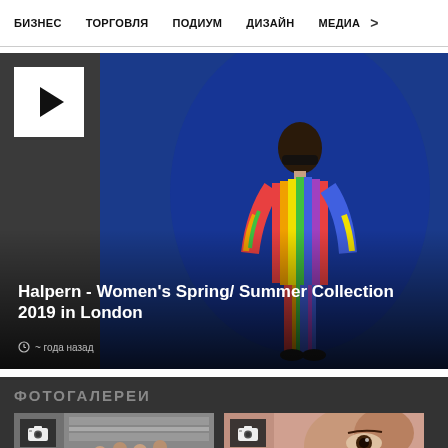БИЗНЕС   ТОРГОВЛЯ   ПОДИУМ   ДИЗАЙН   МЕДИА  >
[Figure (photo): Video thumbnail of a fashion model wearing a colorful rainbow striped outfit against a blue background, with a play button in the top left corner. Text overlay: 'Halpern - Women's Spring/ Summer Collection 2019 in London' and '~ года назад']
ФОТОГАЛЕРЕИ
[Figure (photo): Gallery thumbnail left: fashion show backstage photo with camera icon overlay]
[Figure (photo): Gallery thumbnail right: close-up portrait photo with camera icon overlay]